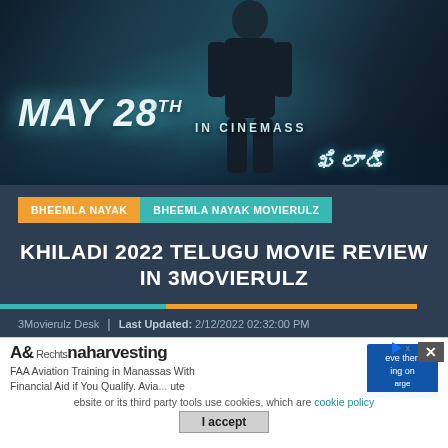[Figure (illustration): Movie poster for Khiladi 2022 Telugu film. Dark blue-teal toned poster showing a man in a suit walking. Text reads 'MAY 28TH IN CINEMASS' with Telugu script title 'Khiladi' at the bottom along with production credits.]
BHEEMLA NAYAK
BHEEMLA NAYAK MOVIERULZ
KHILADI 2022 TELUGU MOVIE REVIEW IN 3MOVIERULZ
3Movierulz Desk | Last Updated: 2/12/2022 02:32:00 PM
[Figure (screenshot): Advertisement overlay showing 'A&P Rechtsnaharvesting' with text 'FAA Aviation Training in Manassas With Financial Aid if You Qualify. Avia... ute' and a blue side box. Below is a cookie consent notice reading 'ebsite or its third party tools use cookies, which are... eve then... ing on... arge' with a 'cookie policy' link and an 'I accept' button. A close button (X) appears in the top right.]